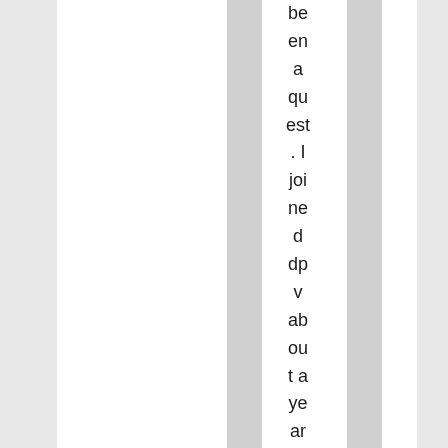be en a quest. I joined dpv about a year ago.
[Figure (photo): MAC Cosmetics advertisement banner showing colorful lipsticks with 'MAC' branding and 'SHOP NOW' call to action button]
Advertisements